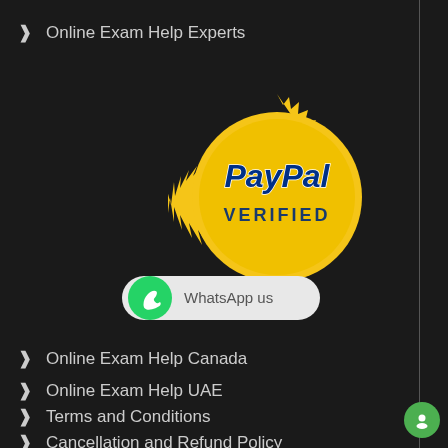Online Exam Help Experts
[Figure (logo): PayPal Verified gold seal badge with starburst border, bold italic PayPal text and VERIFIED below in dark blue]
[Figure (infographic): WhatsApp us button with green WhatsApp phone logo on left and 'WhatsApp us' text on light grey rounded pill background]
Online Exam Help Canada
Online Exam Help UAE
Terms and Conditions
Cancellation and Refund Policy